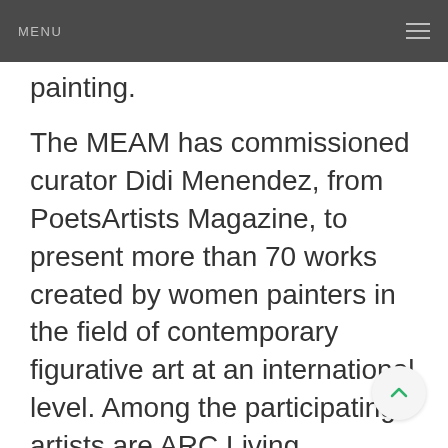MENU
painting.
The MEAM has commissioned curator Didi Menendez, from PoetsArtists Magazine, to present more than 70 works created by women painters in the field of contemporary figurative art at an international level. Among the participating artists are ARC Living Masters™ Anna Wypych, Patricia Watwood, and Marina Dieul, and ARC Associate Living Masters™ Arina Gordienko and Vicki Sullivan.
The exhibition opens on March 8th, on